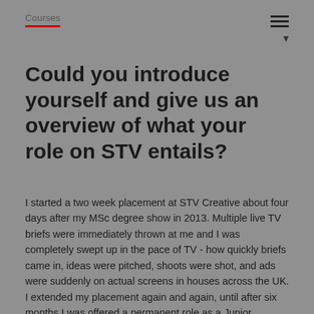Courses
Could you introduce yourself and give us an overview of what your role on STV entails?
I started a two week placement at STV Creative about four days after my MSc degree show in 2013. Multiple live TV briefs were immediately thrown at me and I was completely swept up in the pace of TV - how quickly briefs came in, ideas were pitched, shoots were shot, and ads were suddenly on actual screens in houses across the UK. I extended my placement again and again, until after six months I was offered a permanent role as a Junior Creative. The opportunity to have my ideas turned into real life campaigns, and even to direct on shoots was challenging and exciting